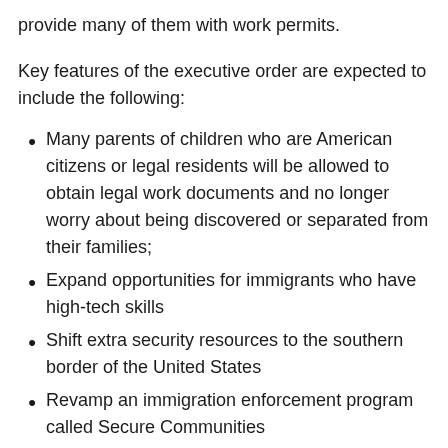provide many of them with work permits.
Key features of the executive order are expected to include the following:
Many parents of children who are American citizens or legal residents will be allowed to obtain legal work documents and no longer worry about being discovered or separated from their families;
Expand opportunities for immigrants who have high-tech skills
Shift extra security resources to the southern border of the United States
Revamp an immigration enforcement program called Secure Communities
Provide clearer guidance to the agencies that enforce immigration laws about who should be